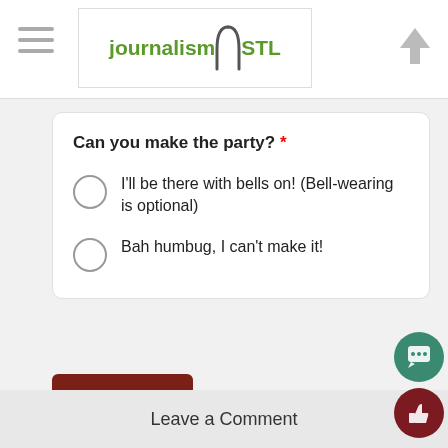journalismSTL
Can you make the party? *
I'll be there with bells on! (Bell-wearing is optional)
Bah humbug, I can't make it!
Submit
Clear form
Never submit passwords through Google Forms
Leave a Comment